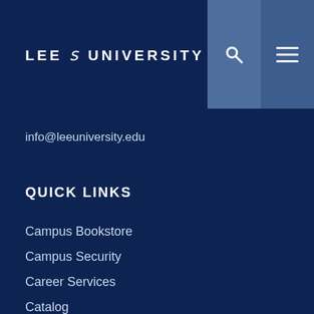LEE UNIVERSITY
info@leeuniversity.edu
QUICK LINKS
Campus Bookstore
Campus Security
Career Services
Catalog
Community Information
Consumer Information
Course Catalog